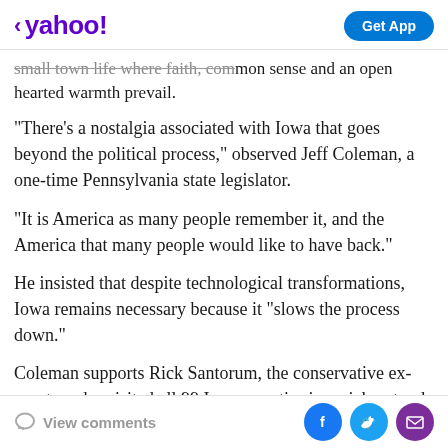< yahoo!  Get App
small town life where faith, common sense and an open hearted warmth prevail.
"There's a nostalgia associated with Iowa that goes beyond the political process," observed Jeff Coleman, a one-time Pennsylvania state legislator.
"It is America as many people remember it, and the America that many people would like to have back."
He insisted that despite technological transformations, Iowa remains necessary because it "slows the process down."
Coleman supports Rick Santorum, the conservative ex-senator who visited all 99 Iowa counties in a pickup truck
View comments  [Facebook] [Twitter] [Mail]